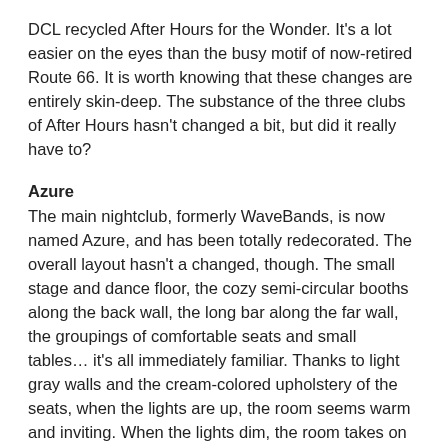DCL recycled After Hours for the Wonder. It's a lot easier on the eyes than the busy motif of now-retired Route 66. It is worth knowing that these changes are entirely skin-deep. The substance of the three clubs of After Hours hasn't changed a bit, but did it really have to?
Azure
The main nightclub, formerly WaveBands, is now named Azure, and has been totally redecorated. The overall layout hasn't a changed, though. The small stage and dance floor, the cozy semi-circular booths along the back wall, the long bar along the far wall, the groupings of comfortable seats and small tables… it's all immediately familiar. Thanks to light gray walls and the cream-colored upholstery of the seats, when the lights are up, the room seems warm and inviting. When the lights dim, the room takes on whatever hue is projected by the lighting system, most typically soft shades of blue and blue-green that evoke an undersea feeling. Overall, there's now little about the room decor that would distract from the entertainment, and there's nothing wrong with that.
Crown & Fin Pub
It's hard to tell the difference between Crown & Fin Pub and its former incarnation, Diversions. (It's equally challenging to distinguish between this and its counterpart on the Magic, O'Gill's Pub.) As with Azure, the